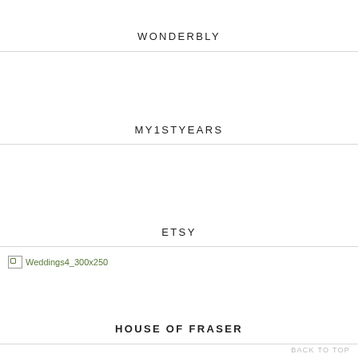WONDERBLY
MY1STYEARS
ETSY
[Figure (other): Broken image placeholder labeled Weddings4_300x250]
HOUSE OF FRASER
BACK TO TOP